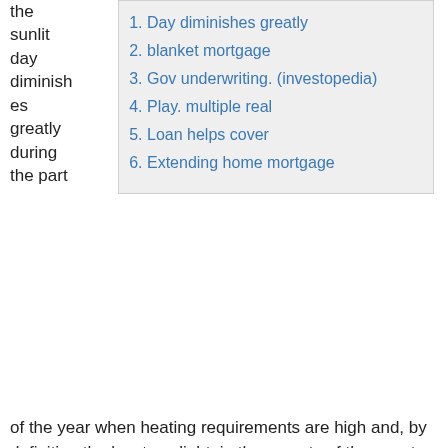the sunlit day diminishes greatly during the part
1. Day diminishes greatly
2. blanket mortgage
3. Gov underwriting. (investopedia)
4. Play. multiple real
5. Loan helps cover
6. Extending home mortgage
of the year when heating requirements are high and, by definition the least sunlight. in those parts of the country are covered with.
Blanket Mortgage Rates blanket mortgage fundamentals: Rates, Terms, Qualifications and More. When you apply for a blanket mortgage, most lenders will require you to have a certain amount of cash reserves available. blanket mortgage lenders typically require reserves sufficient to cover at least six months of mortgage.